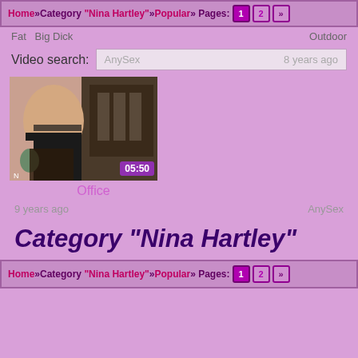Home » Category "Nina Hartley" » Popular » Pages: 1 2 »
Fat   Big Dick   Outdoor
Video search:   AnySex   8 years ago
[Figure (photo): Video thumbnail showing adult content, duration badge 05:50]
Office
9 years ago    AnySex
Category "Nina Hartley"
Home » Category "Nina Hartley" » Popular » Pages: 1 2 »